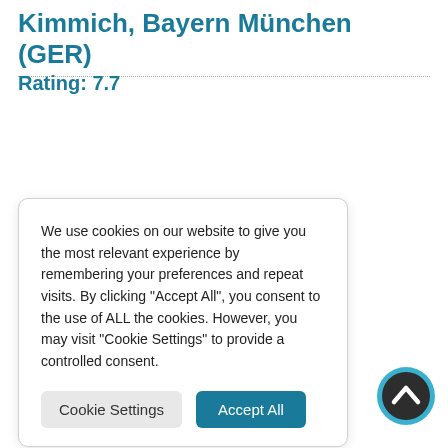Kimmich, Bayern München (GER)
Rating: 7.7
We use cookies on our website to give you the most relevant experience by remembering your preferences and repeat visits. By clicking "Accept All", you consent to the use of ALL the cookies. However, you may visit "Cookie Settings" to provide a controlled consent.
[Figure (screenshot): Cookie consent dialog with Cookie Settings and Accept All buttons, and a scroll-to-top circular button.]